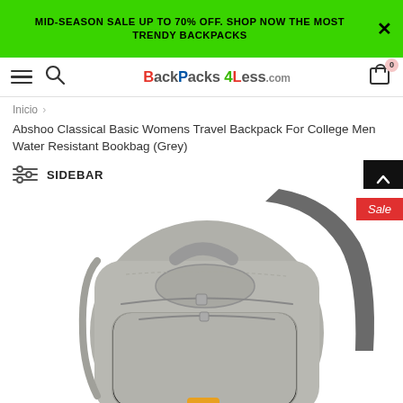MID-SEASON SALE UP TO 70% OFF. SHOP NOW THE MOST TRENDY BACKPACKS
BackPacks4Less.com
Inicio >
Abshoo Classical Basic Womens Travel Backpack For College Men Water Resistant Bookbag (Grey)
SIDEBAR
[Figure (photo): Grey backpack product photo showing Abshoo Classical Basic Womens Travel Backpack with Sale badge in top right corner]